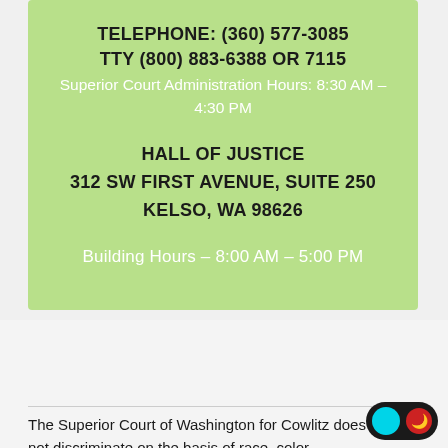TELEPHONE: (360) 577-3085
TTY (800) 883-6388 OR 7115
Superior Court Administration Hours: 8:30 AM – 4:30 PM
HALL OF JUSTICE
312 SW FIRST AVENUE, SUITE 250
KELSO, WA 98626
Building Hours – 8:00 AM – 5:00 PM
The Superior Court of Washington for Cowlitz does not discriminate on the basis of race, color,